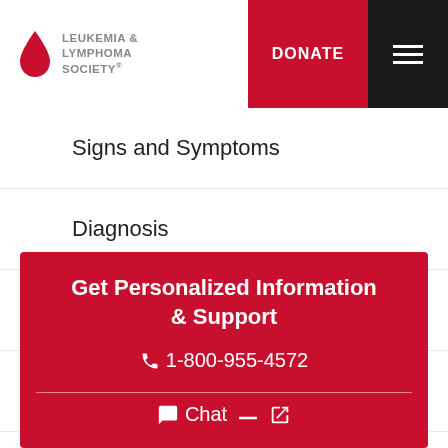[Figure (logo): Leukemia & Lymphoma Society logo with red blood drop and gray text]
Signs and Symptoms
Diagnosis
+ Treatment
Disease Complications
+ Polycythemia Vera
Get Personalized Information & Support
1-800-955-4572
Chat